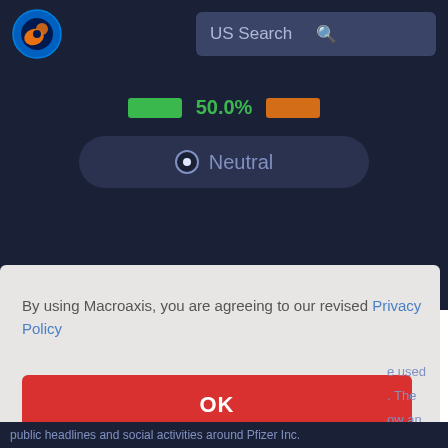[Figure (screenshot): Macroaxis website header with logo globe icon and US Search bar]
[Figure (infographic): Sentiment indicator showing 50.0% with green and orange bars and Neutral radio button]
By using Macroaxis, you are agreeing to our revised Privacy Policy
OK
public headlines and social activities around Pfizer Inc.